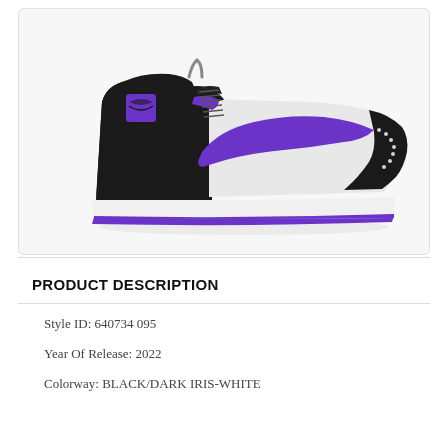[Figure (photo): Nike Air Jordan 1 Mid sneaker in black, white, and dark iris/purple colorway, side profile view facing right]
PRODUCT DESCRIPTION
Style ID: 640734 095
Year Of Release: 2022
Colorway: BLACK/DARK IRIS-WHITE